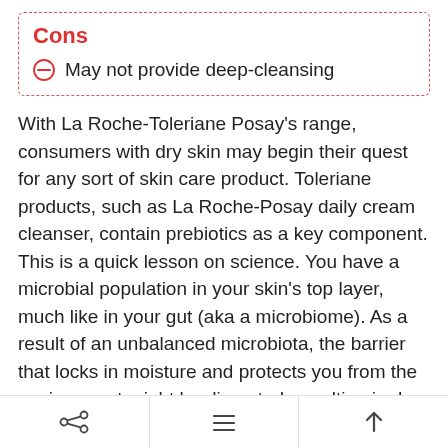Cons
May not provide deep-cleansing
With La Roche-Toleriane Posay's range, consumers with dry skin may begin their quest for any sort of skin care product. Toleriane products, such as La Roche-Posay daily cream cleanser, contain prebiotics as a key component. This is a quick lesson on science. You have a microbial population in your skin's top layer, much like in your gut (aka a microbiome). As a result of an unbalanced microbiota, the barrier that locks in moisture and protects you from the environment might be disrupted, resulting in dry, flaky skin. If you